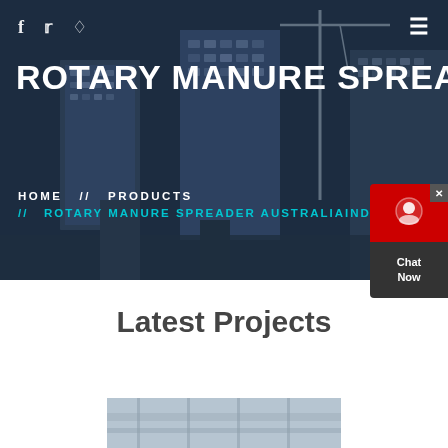[Figure (screenshot): Hero background with construction site / city skyline with cranes and buildings, with dark overlay]
f  ’  ⦾  ≡
ROTARY MANURE SPREADER AU
HOME  //  PRODUCTS  //  ROTARY MANURE SPREADER AUSTRALIAINDE
Latest Projects
[Figure (photo): Construction or industrial site interior photo, partially visible at bottom of page]